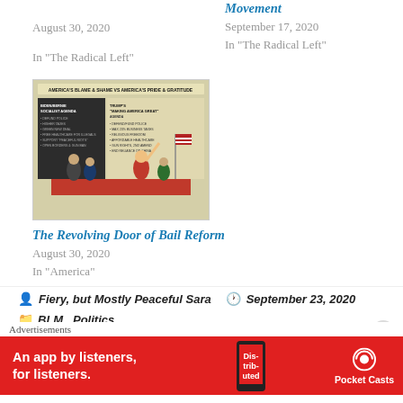August 30, 2020
In “The Radical Left”
Movement
September 17, 2020
In “The Radical Left”
[Figure (illustration): Political cartoon showing figures on stage with text 'AMERICA'S BLAME & SHAME VS AMERICA'S PRIDE & GRATITUDE'. Left side lists socialist agenda items, right side lists Trump agenda items.]
The Revolving Door of Bail Reform
August 30, 2020
In “America”
Fiery, but Mostly Peaceful Sara  September 23, 2020
BLM,  Politics
backtheblue,  black lives matter,  blacklivesmatter,  BLM
[Figure (infographic): Advertisement banner for Pocket Casts app. Red background with white text 'An app by listeners, for listeners.' Pocket Casts logo on right, phone mockup in center.]